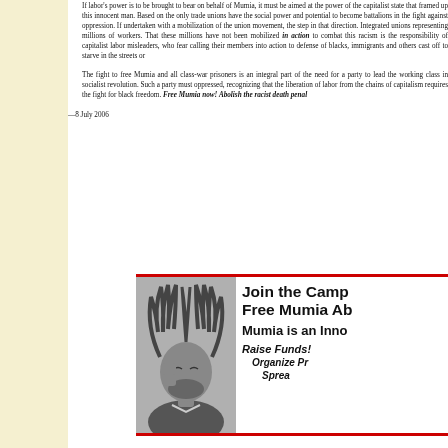If labor's power is to be brought to bear on behalf of Mumia, it must be aimed at the power of the capitalist state that framed up this innocent man. Based on the only trade unions have the social power and potential to become battalions in the fight against oppression. If undertaken with a mobilization of the union movement, the step in that direction. Integrated unions representing millions of workers. That these millions have not been mobilized in action to combat this racism is the responsibility of capitalist labor misleaders, who fear calling their members into action to defense of blacks, immigrants and others cast off to starve in the streets or
The fight to free Mumia and all class-war prisoners is an integral part of the need for a party to lead the working class in socialist revolution. Such a party must oppressed, recognizing that the liberation of labor from the chains of capitalism requires the fight for black freedom. Free Mumia now! Abolish the racist death penalty!
—8 July 2006
[Figure (infographic): Advertisement box with red border lines at top and bottom. Contains a black-and-white photo of Mumia Abu-Jamal on the left, and text on the right: 'Join the Campaign to Free Mumia Abu-Jamal', 'Mumia is an Innocent Man!', 'Raise Funds!', 'Organize Protests!', 'Spread the Word!']